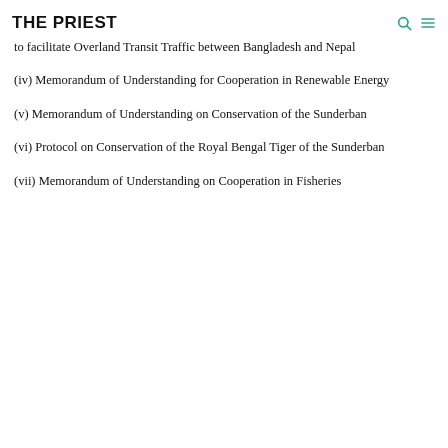THE PRIEST
to facilitate Overland Transit Traffic between Bangladesh and Nepal
(iv) Memorandum of Understanding for Cooperation in Renewable Energy
(v) Memorandum of Understanding on Conservation of the Sunderban
(vi) Protocol on Conservation of the Royal Bengal Tiger of the Sunderban
(vii) Memorandum of Understanding on Cooperation in Fisheries